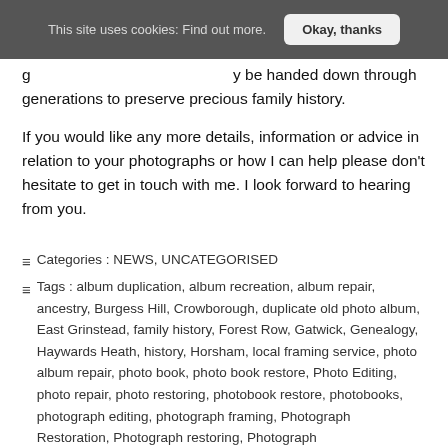This site uses cookies: Find out more.  Okay, thanks
g ... y ... be handed down through generations to preserve precious family history.
If you would like any more details, information or advice in relation to your photographs or how I can help please don't hesitate to get in touch with me. I look forward to hearing from you.
Categories : NEWS, UNCATEGORISED
Tags : album duplication, album recreation, album repair, ancestry, Burgess Hill, Crowborough, duplicate old photo album, East Grinstead, family history, Forest Row, Gatwick, Genealogy, Haywards Heath, history, Horsham, local framing service, photo album repair, photo book, photo book restore, Photo Editing, photo repair, photo restoring, photobook restore, photobooks, photograph editing, photograph framing, Photograph Restoration, Photograph restoring, Photograph